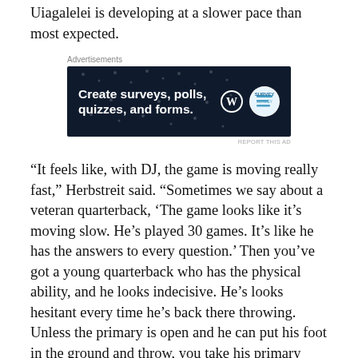Uiagalelei is developing at a slower pace than most expected.
[Figure (other): Advertisement banner for WordPress surveys/polls/quizzes and forms product]
“It feels like, with DJ, the game is moving really fast,” Herbstreit said. “Sometimes we say about a veteran quarterback, ‘The game looks like it’s moving slow. He’s played 30 games. It’s like he has the answers to every question.’ Then you’ve got a young quarterback who has the physical ability, and he looks indecisive. He’s looks hesitant every time he’s back there throwing. Unless the primary is open and he can put his foot in the ground and throw, you take his primary away, he starts going into panic mode.”